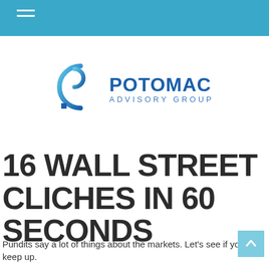[Figure (logo): Potomac Advisory Group logo with circular P icon in gradient blue and text 'POTOMAC ADVISORY GROUP']
16 WALL STREET CLICHES IN 60 SECONDS
Pundits say a lot of things about the markets. Let's see if you can keep up.